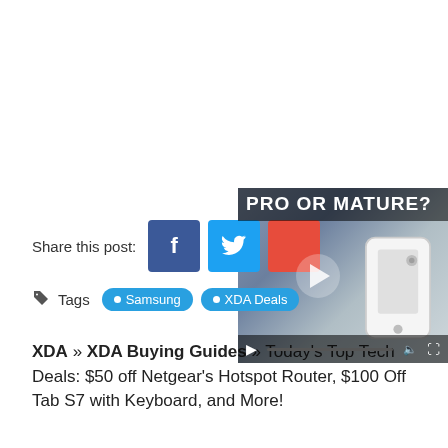[Figure (screenshot): Blank white area at top of page (above fold content)]
[Figure (screenshot): Video overlay thumbnail with text 'PRO OR MATURE?' showing a white smartphone, with play button and video controls. Close button (X) in top right.]
Share this post:
Tags  Samsung  XDA Deals
XDA » XDA Buying Guides » Today's Top Tech Deals: $50 off Netgear's Hotspot Router, $100 Off Tab S7 with Keyboard, and More!